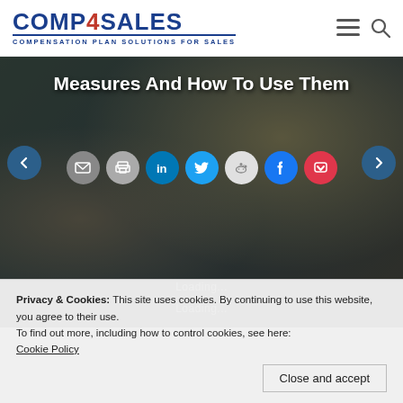COMP4SALES - Compensation Plan Solutions For Sales
[Figure (screenshot): Hero image with dark overlay showing a storefront 'Come in, We're Open' sign, with title text 'Measures And How To Use Them' and social share buttons (email, print, LinkedIn, Twitter, Reddit, Facebook, Pocket), plus navigation arrows and 'Loading...' text]
Privacy & Cookies: This site uses cookies. By continuing to use this website, you agree to their use.
To find out more, including how to control cookies, see here:
Cookie Policy
Close and accept